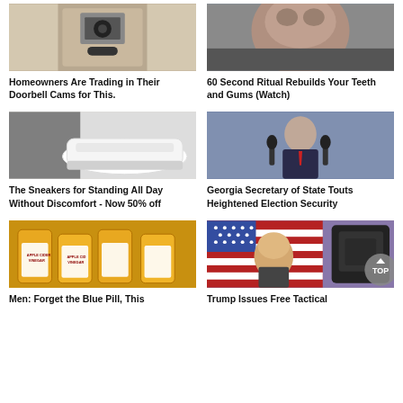[Figure (photo): Doorbell camera / security device mounted on wall]
Homeowners Are Trading in Their Doorbell Cams for This.
[Figure (photo): Close-up of elderly person's face, teeth and gums article]
60 Second Ritual Rebuilds Your Teeth and Gums (Watch)
[Figure (photo): White sneakers being put on feet]
The Sneakers for Standing All Day Without Discomfort - Now 50% off
[Figure (photo): Georgia Secretary of State at press conference with microphones]
Georgia Secretary of State Touts Heightened Election Security
[Figure (photo): Bragg Apple Cider Vinegar bottles]
Men: Forget the Blue Pill, This
[Figure (photo): Donald Trump in front of American flag with tactical backpack]
Trump Issues Free Tactical